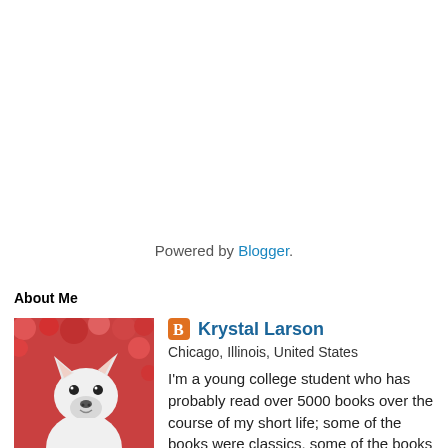Powered by Blogger.
About Me
[Figure (photo): Profile photo of a white German Shepherd dog in front of red flowers]
Krystal Larson
Chicago, Illinois, United States
I'm a young college student who has probably read over 5000 books over the course of my short life; some of the books were classics, some of the books were terrific, and some of the books were...misses. Even with the latter part I will always believe in the power of books to completely remove the